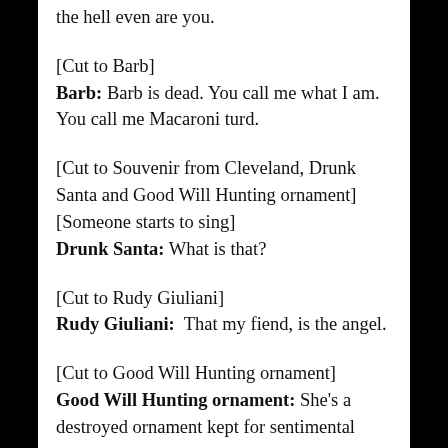the hell even are you.
[Cut to Barb]
Barb: Barb is dead. You call me what I am. You call me Macaroni turd.
[Cut to Souvenir from Cleveland, Drunk Santa and Good Will Hunting ornament] [Someone starts to sing]
Drunk Santa: What is that?
[Cut to Rudy Giuliani]
Rudy Giuliani:  That my fiend, is the angel.
[Cut to Good Will Hunting ornament]
Good Will Hunting ornament: She's a destroyed ornament kept for sentimental